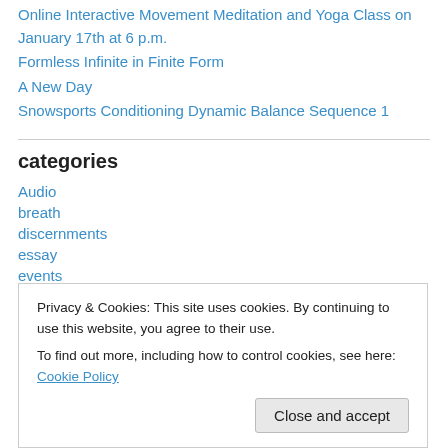Online Interactive Movement Meditation and Yoga Class on January 17th at 6 p.m.
Formless Infinite in Finite Form
A New Day
Snowsports Conditioning Dynamic Balance Sequence 1
categories
Audio
breath
discernments
essay
events
instructional
Privacy & Cookies: This site uses cookies. By continuing to use this website, you agree to their use.
To find out more, including how to control cookies, see here: Cookie Policy
Close and accept